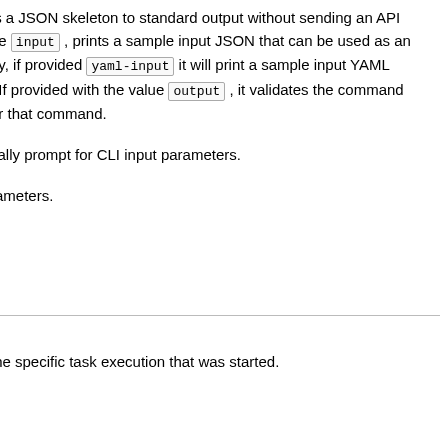ts a JSON skeleton to standard output without sending an API ue input , prints a sample input JSON that can be used as an rly, if provided yaml-input it will print a sample input YAML . If provided with the value output , it validates the command or that command.
cally prompt for CLI input parameters.
rameters.
the specific task execution that was started.